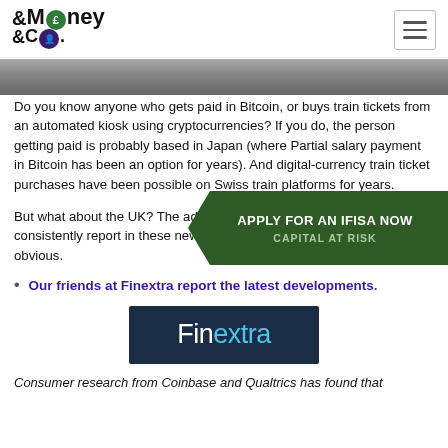Money &Co. [logo]
[Figure (photo): Bottom portion of a photo showing feet/shoes on pavement, cropped at top of view]
Do you know anyone who gets paid in Bitcoin, or buys train tickets from an automated kiosk using cryptocurrencies? If you do, the person getting paid is probably based in Japan (where Partial salary payment in Bitcoin has been an option for years). And digital-currency train ticket purchases have been possible on Swiss train platforms for years.
[Figure (other): APPLY FOR AN IFISA NOW — CAPITAL AT RISK promotional banner overlay]
But what about the UK? The advance of cryptos is inevitable – as we consistently report in these news pages – but the milestones are less obvious.
Our friends at Finextra report the latest developments.
[Figure (logo): Finextra logo — dark navy background with white 'Fin' and cyan 'extra' text]
Consumer research from Coinbase and Qualtrics has found that